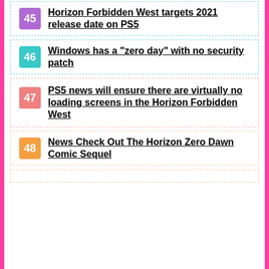45 Horizon Forbidden West targets 2021 release date on PS5
46 Windows has a “zero day” with no security patch
47 PS5 news will ensure there are virtually no loading screens in the Horizon Forbidden West
48 News Check Out The Horizon Zero Dawn Comic Sequel